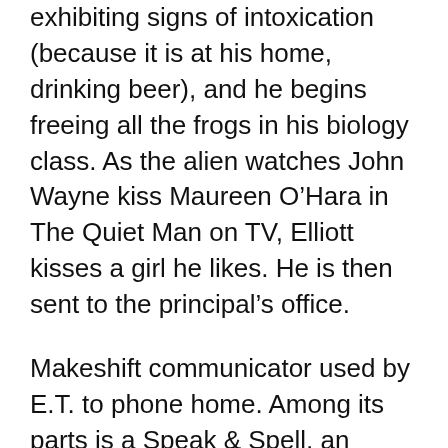exhibiting signs of intoxication (because it is at his home, drinking beer), and he begins freeing all the frogs in his biology class. As the alien watches John Wayne kiss Maureen O’Hara in The Quiet Man on TV, Elliott kisses a girl he likes. He is then sent to the principal’s office.
Makeshift communicator used by E.T. to phone home. Among its parts is a Speak & Spell, an umbrella lined with tinfoil, and a coffee can filled with other electronics. The alien learns to speak English by repeating what Gertie says as she watches Sesame Street and, at Elliott’s urging, dubs itself “E.T.” He reads a comic strip where Buck Rogers, stranded, calls for help by building a makeshift communication device and is inspired to try it